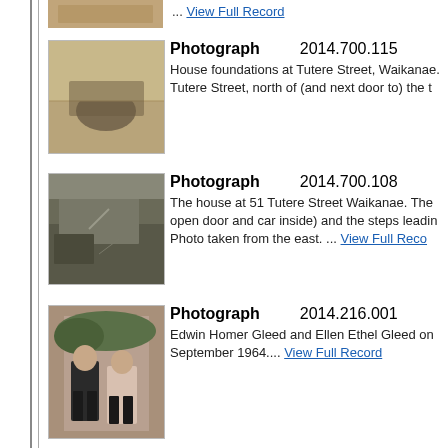[Figure (photo): Partial thumbnail of a historical photograph at top of page]
... View Full Record
[Figure (photo): Sepia photograph of house foundations at Tutere Street, Waikanae]
Photograph   2014.700.115
House foundations at Tutere Street, Waikanae. Tutere Street, north of (and next door to) the t
[Figure (photo): Black and white photograph of the house at 51 Tutere Street Waikanae]
Photograph   2014.700.108
The house at 51 Tutere Street Waikanae. The open door and car inside) and the steps leadin Photo taken from the east. ... View Full Record
[Figure (photo): Colour photograph of Edwin Homer Gleed and Ellen Ethel Gleed]
Photograph   2014.216.001
Edwin Homer Gleed and Ellen Ethel Gleed on September 1964.... View Full Record
[Figure (photo): Black and white photograph of Edwin Homer Gleed at the entrance to his workshop]
Photograph   2014.216.002
Edwin Homer Gleed at the entrance to his wo Photo taken in 1962.... View Full Record